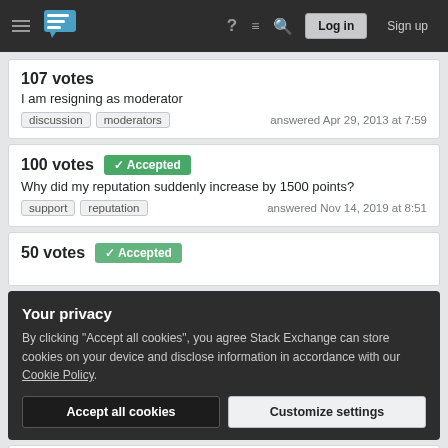Stack Exchange navigation bar with hamburger menu, logo, help, chat, search icons, Log in and Sign up buttons
107 votes
I am resigning as moderator
discussion  moderators    answered Apr 29, 2013 at 7:59
100 votes  ✓ Accepted
Why did my reputation suddenly increase by 1500 points?
support  reputation    answered Nov 14, 2019 at 8:51
50 votes  ✓ Accepted
Your privacy
By clicking "Accept all cookies", you agree Stack Exchange can store cookies on your device and disclose information in accordance with our Cookie Policy.
Accept all cookies
Customize settings
List of comment templates